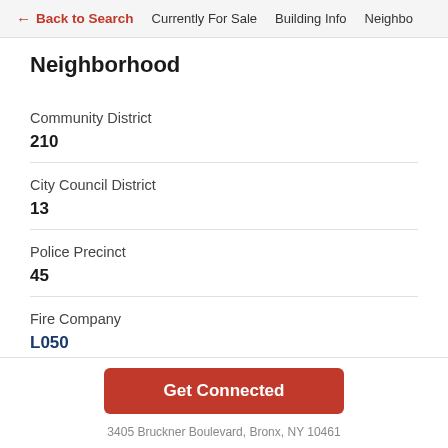← Back to Search   Currently For Sale   Building Info   Neighbo
Neighborhood
Community District
210
City Council District
13
Police Precinct
45
Fire Company
L050
Get Connected
3405 Bruckner Boulevard, Bronx, NY 10461